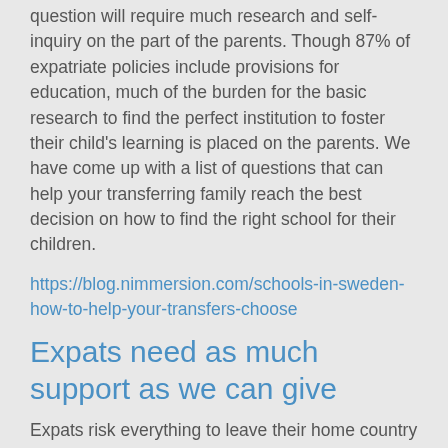question will require much research and self-inquiry on the part of the parents. Though 87% of expatriate policies include provisions for education, much of the burden for the basic research to find the perfect institution to foster their child's learning is placed on the parents. We have come up with a list of questions that can help your transferring family reach the best decision on how to find the right school for their children.
https://blog.nimmersion.com/schools-in-sweden-how-to-help-your-transfers-choose
Expats need as much support as we can give
Expats risk everything to leave their home country to move to Sweden for their career. The culture gap between Sweden and their home country is often very large. This can